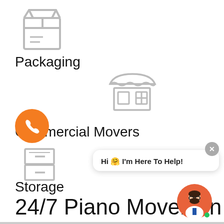[Figure (illustration): Box/package icon outline]
Packaging
[Figure (illustration): Store/shop front icon outline]
Commercial Movers
[Figure (illustration): Storage unit/filing cabinet icon outline]
Storage
[Figure (illustration): Orange phone call button (circular)]
[Figure (illustration): Chat bubble overlay: Hi 🤗 I'm Here To Help! with avatar]
24/7 Piano Movers in West Virginia